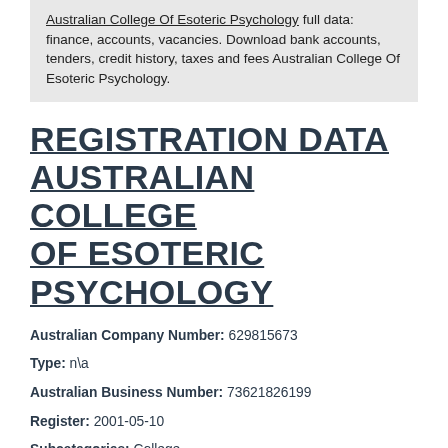Australian College Of Esoteric Psychology full data: finance, accounts, vacancies. Download bank accounts, tenders, credit history, taxes and fees Australian College Of Esoteric Psychology.
REGISTRATION DATA AUSTRALIAN COLLEGE OF ESOTERIC PSYCHOLOGY
Australian Company Number: 629815673
Type: n\a
Australian Business Number: 73621826199
Register: 2001-05-10
Subcategories: College